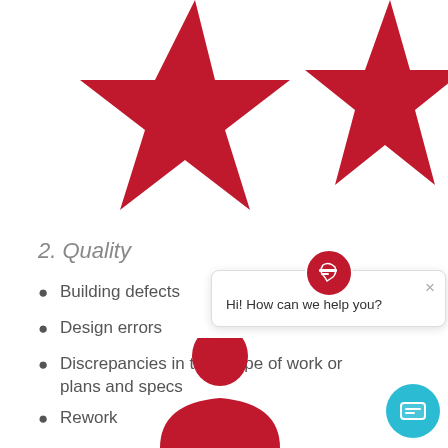[Figure (illustration): Two large red star shapes at the top of the page, partially cropped]
2. Quality
Building defects
Design errors
Discrepancies in the scope of work or plans and specs
Rework
[Figure (screenshot): Chat popup overlay with construction logo icon, close button, and text 'Hi! How can we help you?', plus a blue circular chat button]
[Figure (illustration): Red person silhouette figure at the bottom of the page, partially cropped]